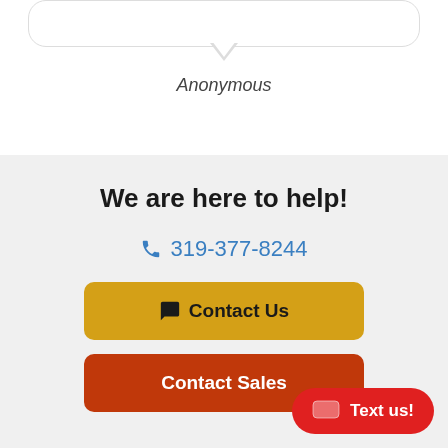[Figure (illustration): Speech bubble outline with downward tail pointing to the label 'Anonymous' below]
Anonymous
We are here to help!
319-377-8244
Contact Us
Contact Sales
Text us!